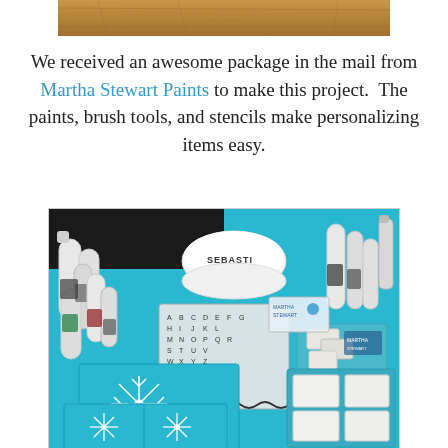[Figure (photo): Partial view of a wooden surface photo at the top of the page, cropped]
We received an awesome package in the mail from Martha Stewart Paints to make this project.  The paints, brush tools, and stencils make personalizing items easy.
[Figure (photo): Photo of Martha Stewart Paints craft supplies laid out on a teal/blue surface, including paint bottles, brush tools, alphabet stencil sheets, snowflake stencils on blue cards, and white ceramic/plastic molds and trays. A white bowl with text 'SEBASTI' is visible in the background.]